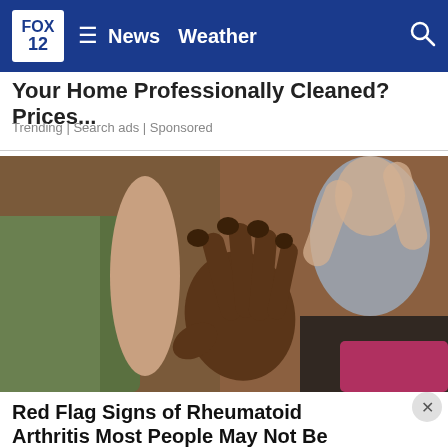FOX 12 | News | Weather
Your Home Professionally Cleaned? Prices...
Trending | Search ads | Sponsored
[Figure (photo): Close-up photo of a person's hand with visible joint swelling, in a group yoga or stretching session setting.]
Red Flag Signs of Rheumatoid Arthritis Most People May Not Be Aware Of In Ashburn